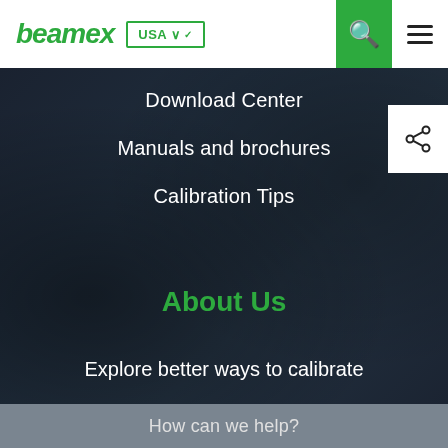[Figure (logo): Beamex logo in green italic font with USA country selector button]
Download Center
Manuals and brochures
Calibration Tips
About Us
Explore better ways to calibrate
Our Story
Testimonials
How can we help?